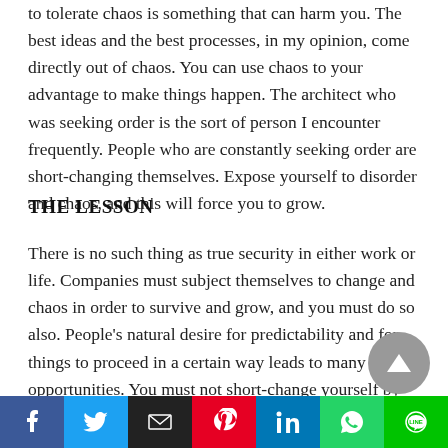to tolerate chaos is something that can harm you. The best ideas and the best processes, in my opinion, come directly out of chaos. You can use chaos to your advantage to make things happen. The architect who was seeking order is the sort of person I encounter frequently. People who are constantly seeking order are short-changing themselves. Expose yourself to disorder and chaos, and this will force you to grow.
THE LESSON
There is no such thing as true security in either work or life. Companies must subject themselves to change and chaos in order to survive and grow, and you must do so also. People's natural desire for predictability and for things to proceed in a certain way leads to many missed opportunities. You must not short-change yourself by